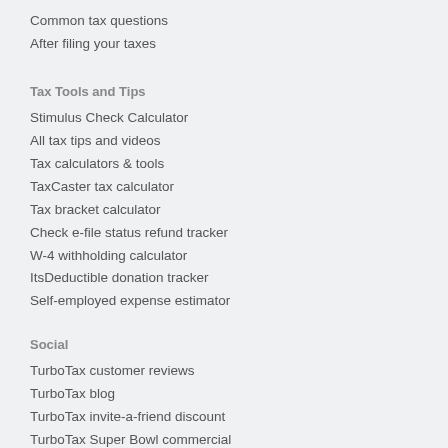Common tax questions
After filing your taxes
Tax Tools and Tips
Stimulus Check Calculator
All tax tips and videos
Tax calculators & tools
TaxCaster tax calculator
Tax bracket calculator
Check e-file status refund tracker
W-4 withholding calculator
ItsDeductible donation tracker
Self-employed expense estimator
Social
TurboTax customer reviews
TurboTax blog
TurboTax invite-a-friend discount
TurboTax Super Bowl commercial
Community